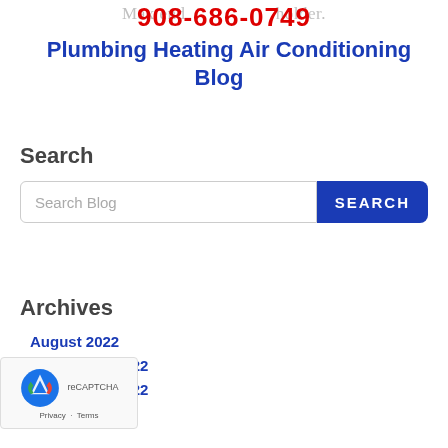908-686-0749
Plumbing Heating Air Conditioning Blog
Search
Search Blog
Archives
August 2022
2022
2022